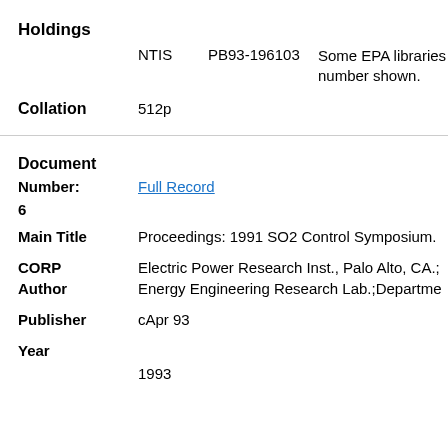Holdings
NTIS    PB93-196103    Some EPA libraries number shown.
Collation    512p
Document
Number:    Full Record
6
Main Title    Proceedings: 1991 SO2 Control Symposium.
CORP Author    Electric Power Research Inst., Palo Alto, CA.; Energy Engineering Research Lab.;Departme
Publisher    cApr 93
Year    1993